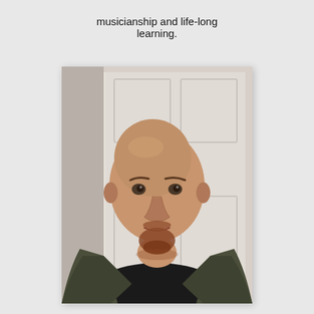musicianship and life-long learning.
[Figure (photo): Portrait photo of a bald man with a reddish-brown goatee beard, wearing a black t-shirt under an olive/dark green jacket, standing in front of a white panelled door.]